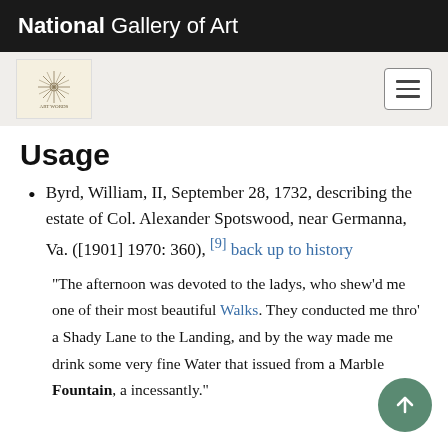National Gallery of Art
[Figure (logo): Art gallery logo — decorative sunburst/compass rose design on cream background]
Usage
Byrd, William, II, September 28, 1732, describing the estate of Col. Alexander Spotswood, near Germanna, Va. ([1901] 1970: 360), [9] back up to history
"The afternoon was devoted to the ladys, who shew'd me one of their most beautiful Walks. They conducted me thro' a Shady Lane to the Landing, and by the way made me drink some very fine Water that issued from a Marble Fountain, a incessantly."